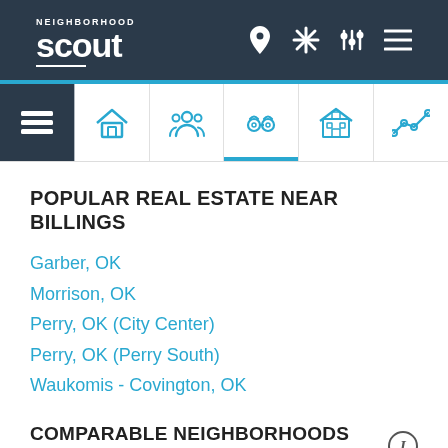Neighborhood Scout - Navigation bar with logo and icons
[Figure (screenshot): Tab bar with icons: list/overview (active, dark background), home, people/community, crime/handcuffs, school/building, trend line]
POPULAR REAL ESTATE NEAR BILLINGS
Garber, OK
Morrison, OK
Perry, OK (City Center)
Perry, OK (Perry South)
Waukomis - Covington, OK
COMPARABLE NEIGHBORHOODS NEARBY